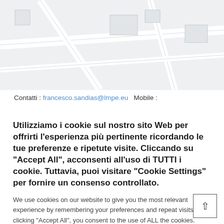[Figure (map): Street map background showing roads and building outlines in light gray on a pale blue-gray background]
Contatti : francesco.sandias@lmpe.eu   Mobile :
Utilizziamo i cookie sul nostro sito Web per offrirti l'esperienza più pertinente ricordando le tue preferenze e ripetute visite. Cliccando su "Accept All", acconsenti all'uso di TUTTI i cookie. Tuttavia, puoi visitare "Cookie Settings" per fornire un consenso controllato.
We use cookies on our website to give you the most relevant experience by remembering your preferences and repeat visits. By clicking “Accept All”, you consent to the use of ALL the cookies. However, you may visit "Cookie Settings" to provide a controlled consent.